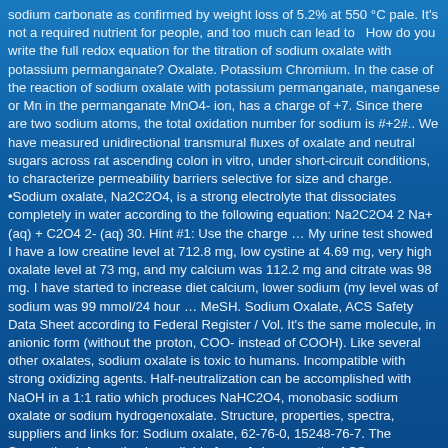sodium carbonate as confirmed by weight loss of 5.2% at 550 °C pale. It's not a required nutrient for people, and too much can lead to … How do you write the full redox equation for the titration of sodium oxalate with potassium permanganate? Oxalate. Potassium Chromium. In the case of the reaction of sodium oxalate with potassium permanganate, manganese or Mn in the permanganate MnO4- ion, has a charge of +7. Since there are two sodium atoms, the total oxidation number for sodium is #+2#.. We have measured unidirectional transmural fluxes of oxalate and neutral sugars across rat ascending colon in vitro, under short-circuit conditions, to characterize permeability barriers selective for size and charge. •Sodium oxalate, Na2C2O4, is a strong electrolyte that dissociates completely in water according to the following equation: Na2C2O4 2 Na+ (aq) + C2O4 2- (aq) 30. Hint #1: Use the charge … My urine test showed I have a low creatine level at 712.8 mg, low cystine at 4.69 mg, very high oxalate level at 73 mg, and my calcium was 112.2 mg and citrate was 98 mg. I have started to increase diet calcium, lower sodium (my level was of sodium was 99 mmol/24 hour … MeSH. Sodium Oxalate, ACS Safety Data Sheet according to Federal Register / Vol. It's the same molecule, in anionic form (without the proton, COO- instead of COOH). Like several other oxalates, sodium oxalate is toxic to humans. Incompatible with strong oxidizing agents. Half-neutralization can be accomplished with NaOH in a 1:1 ratio which produces NaHC2O4, monobasic sodium oxalate or sodium hydrogenoxalate. Structure, properties, spectra, suppliers and links for: Sodium oxalate, 62-76-0, 15248-76-7. The Supporting Information is available free of charge on the ACS Publications website at DOI: 10.1021/acsami.8b13641.. Boil oxalate-rich vegetables: Boiling vegetables can reduce their oxalate content from 30% to almost 90%, depending on the vegetable . It is desirable that the temperature of the titration mixture is greater than 60 °C to ensure that all the permanganate added reacts quickly. Yoshimori T1, Asano Y, Toriumi Y, Shiota T. (1978) "Investigation on the drying and decomposition of sodium oxalate". Drink plenty of water: Aim for a minimum of 2 liters daily. It is only very rarely found and restricted to extremely sodic conditions of ultra-alkaline pegmatites. Your doctor is likely to recommend a low-oxalate, low-sodium, low-protein diet if you have kidney disease, and this diet may also reduce your risk for developing kidney stones. sodium oxalate: ChEBI ID CHEBI:132764: Definition An